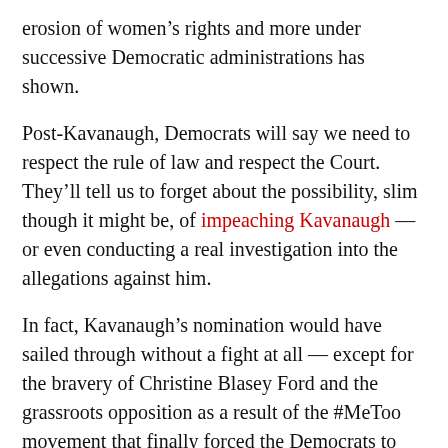erosion of women's rights and more under successive Democratic administrations has shown.
Post-Kavanaugh, Democrats will say we need to respect the rule of law and respect the Court. They'll tell us to forget about the possibility, slim though it might be, of impeaching Kavanaugh — or even conducting a real investigation into the allegations against him.
In fact, Kavanaugh's nomination would have sailed through without a fight at all — except for the bravery of Christine Blasey Ford and the grassroots opposition as a result of the #MeToo movement that finally forced the Democrats to put up at least some semblance of a fight.
The explosion of protest — especially the inspiring acts of bravery of sexual assault survivors confronting congressional representatives like Sen. Jeff Flake and others — as well as those who walked out on